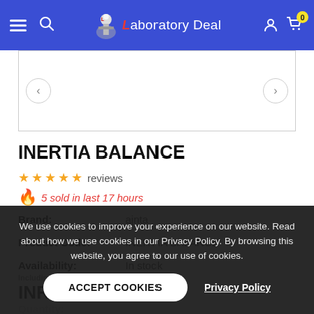Laboratory Deal — navigation header
[Figure (screenshot): Product image area with navigation arrows, white background, bordered container]
INERTIA BALANCE
reviews (star rating, 0 filled stars)
🔥 5 sold in last 17 hours
| Brand: | ajnta |
| Product Code: | INERTIA BALANCE |
| Availability: | In stock |
INR 14,000.00
Quantity:
We use cookies to improve your experience on our website. Read about how we use cookies in our Privacy Policy. By browsing this website, you agree to our use of cookies.
ACCEPT COOKIES | Privacy Policy